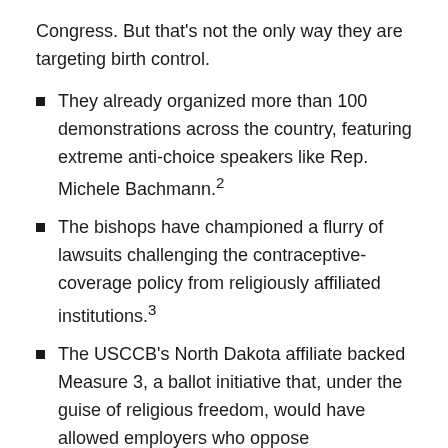Congress. But that's not the only way they are targeting birth control.
They already organized more than 100 demonstrations across the country, featuring extreme anti-choice speakers like Rep. Michele Bachmann.²
The bishops have championed a flurry of lawsuits challenging the contraceptive-coverage policy from religiously affiliated institutions.³
The USCCB's North Dakota affiliate backed Measure 3, a ballot initiative that, under the guise of religious freedom, would have allowed employers who oppose contraception to deny such coverage to their employees. Fortunately, North Dakota voters rejected Measure 3 by a wide margin last week.
These next two weeks will be critical. We can't allow the